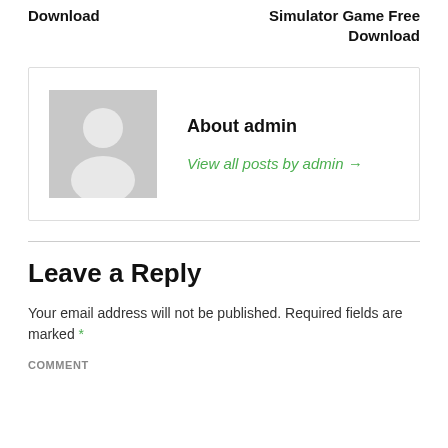Download
Simulator Game Free Download
[Figure (illustration): Grey placeholder avatar icon showing a person silhouette]
About admin
View all posts by admin →
Leave a Reply
Your email address will not be published. Required fields are marked *
COMMENT